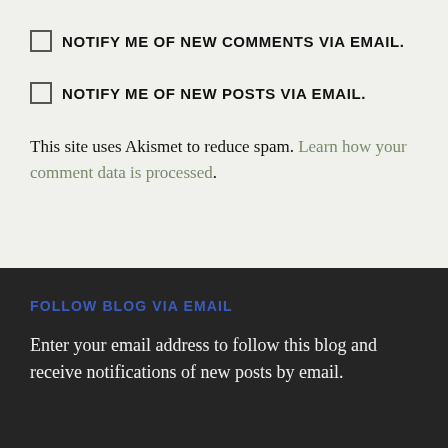NOTIFY ME OF NEW COMMENTS VIA EMAIL.
NOTIFY ME OF NEW POSTS VIA EMAIL.
This site uses Akismet to reduce spam. Learn how your comment data is processed.
FOLLOW BLOG VIA EMAIL
Enter your email address to follow this blog and receive notifications of new posts by email.